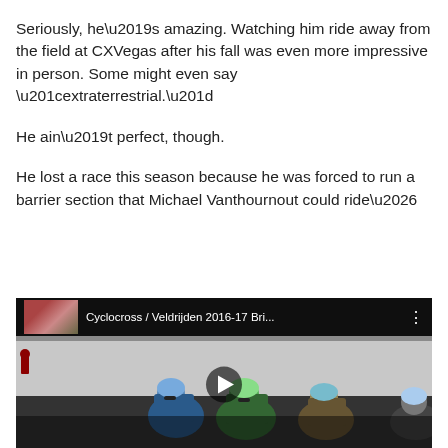Seriously, he’s amazing. Watching him ride away from the field at CXVegas after his fall was even more impressive in person. Some might even say “extraterrestrial.”
He ain’t perfect, though.
He lost a race this season because he was forced to run a barrier section that Michael Vanthournout could ride…
[Figure (screenshot): Embedded video thumbnail showing cyclists racing. Video title reads 'Cyclocross / Veldrijden 2016-17 Bri...' with a play button in the center.]